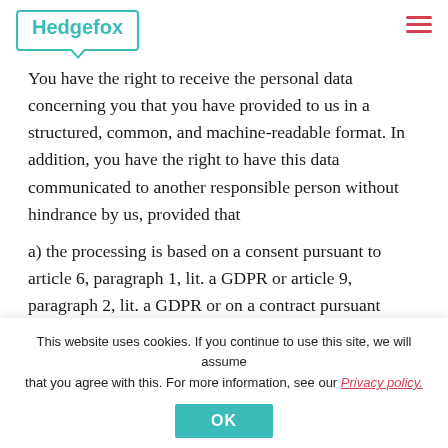Hedgefox
You have the right to receive the personal data concerning you that you have provided to us in a structured, common, and machine-readable format. In addition, you have the right to have this data communicated to another responsible person without hindrance by us, provided that
a) the processing is based on a consent pursuant to article 6, paragraph 1, lit. a GDPR or article 9, paragraph 2, lit. a GDPR or on a contract pursuant
This website uses cookies. If you continue to use this site, we will assume that you agree with this. For more information, see our Privacy policy.
OK